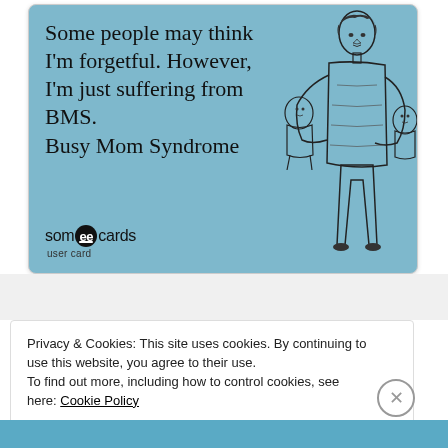[Figure (illustration): Someecards user card with blue background showing a woman holding two babies/toddlers (vintage-style line art illustration). Text reads: 'Some people may think I'm forgetful. However, I'm just suffering from BMS. Busy Mom Syndrome'. Someecards logo at bottom left.]
Privacy & Cookies: This site uses cookies. By continuing to use this website, you agree to their use.
To find out more, including how to control cookies, see here: Cookie Policy
Close and accept